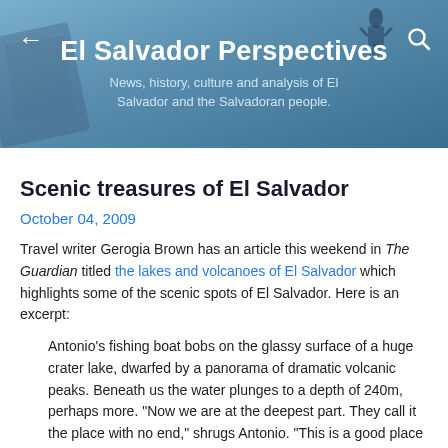El Salvador Perspectives
News, history, culture and analysis of El Salvador and the Salvadoran people.
Scenic treasures of El Salvador
October 04, 2009
Travel writer Gerogia Brown has an article this weekend in The Guardian titled the lakes and volcanoes of El Salvador which highlights some of the scenic spots of El Salvador. Here is an excerpt:
Antonio's fishing boat bobs on the glassy surface of a huge crater lake, dwarfed by a panorama of dramatic volcanic peaks. Beneath us the water plunges to a depth of 240m, perhaps more. "Now we are at the deepest part. They call it the place with no end," shrugs Antonio. "This is a good place to swim."
Like many of the fishermen on lake Ilopango, Antonio swims for a living, using the traditional and dangerous